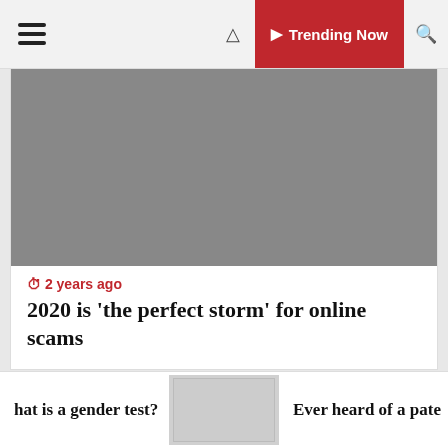≡  ❯ Trending Now 🔍
[Figure (photo): Gray placeholder image for first article]
⏱ 2 years ago
2020 is ‘the perfect storm’ for online scams
[Figure (photo): Gray placeholder image for second article]
hat is a gender test?  [thumbnail image]  Ever heard of a pate